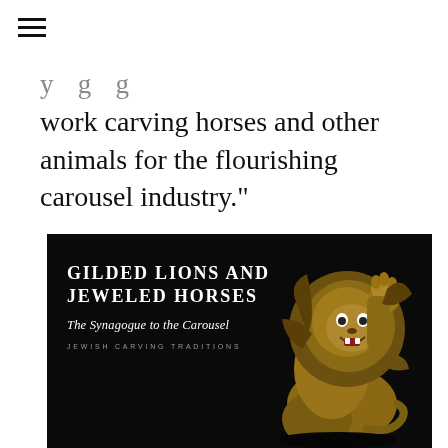y g g work carving horses and other animals for the flourishing carousel industry."
[Figure (photo): Book cover of 'Gilded Lions and Jeweled Horses: The Synagogue to the Carousel — Jewish Carving Traditions' on a black background with a golden carousel lion figure on the right side.]